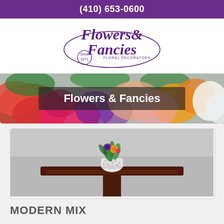(410) 653-0600
[Figure (logo): Flowers & Fancies floral decorators logo in purple script, Since 1971]
[Figure (photo): Hero banner with colorful flower arrangement background and 'Flowers & Fancies' text overlay on dark semi-transparent background]
[Figure (photo): A small floral arrangement in a white patterned vase sitting on a dark wood pedestal table against a grey background]
MODERN MIX